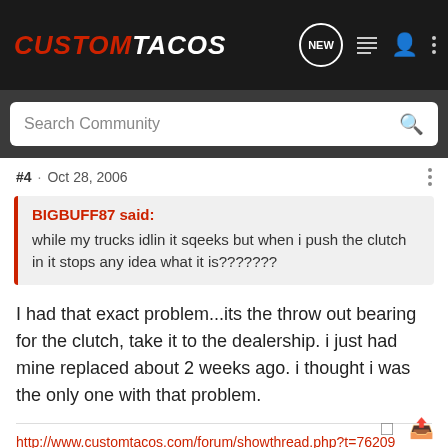CustomTacos
Search Community
#4 · Oct 28, 2006
BIGBUFF87 said:
while my trucks idlin it sqeeks but when i push the clutch in it stops any idea what it is???????
I had that exact problem...its the throw out bearing for the clutch, take it to the dealership. i just had mine replaced about 2 weeks ago. i thought i was the only one with that problem.
http://www.customtacos.com/forum/showthread.php?t=76209